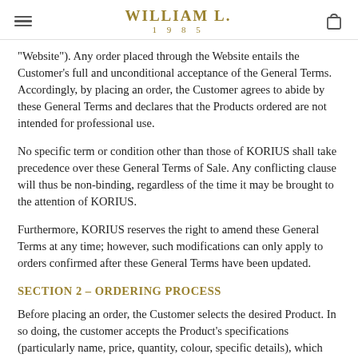WILLIAM L. 1985
“Website”). Any order placed through the Website entails the Customer’s full and unconditional acceptance of the General Terms. Accordingly, by placing an order, the Customer agrees to abide by these General Terms and declares that the Products ordered are not intended for professional use.
No specific term or condition other than those of KORIUS shall take precedence over these General Terms of Sale. Any conflicting clause will thus be non-binding, regardless of the time it may be brought to the attention of KORIUS.
Furthermore, KORIUS reserves the right to amend these General Terms at any time; however, such modifications can only apply to orders confirmed after these General Terms have been updated.
SECTION 2 – ORDERING PROCESS
Before placing an order, the Customer selects the desired Product. In so doing, the customer accepts the Product’s specifications (particularly name, price, quantity, colour, specific details), which were sent to the Customer or appear on the Website.